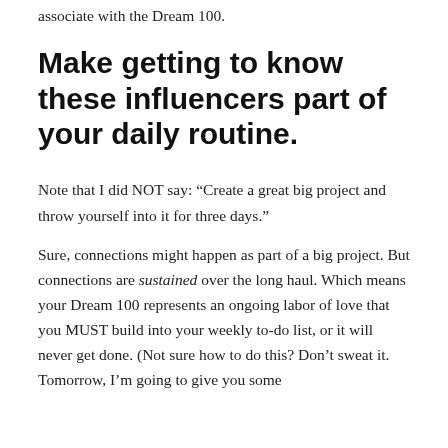associate with the Dream 100.
Make getting to know these influencers part of your daily routine.
Note that I did NOT say: “Create a great big project and throw yourself into it for three days.”
Sure, connections might happen as part of a big project. But connections are sustained over the long haul. Which means your Dream 100 represents an ongoing labor of love that you MUST build into your weekly to-do list, or it will never get done. (Not sure how to do this? Don’t sweat it. Tomorrow, I’m going to give you some